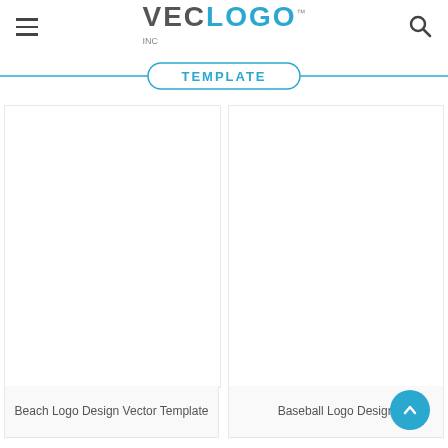VEC LOGO INC TEMPLATE
Beach Logo Design Vector Template
Baseball Logo Design